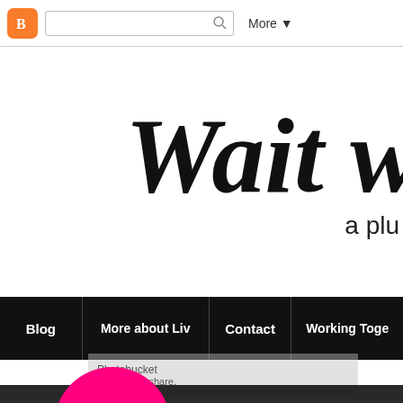Blogger navigation bar with search and More button
Wait … a plu…
Blog | More about Liv | Contact | Working Toge…
23 May 2013
Fatshion Faceoff: Peter Pan Co…